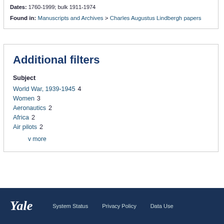Dates: 1760-1999; bulk 1911-1974
Found in: Manuscripts and Archives > Charles Augustus Lindbergh papers
Additional filters
Subject
World War, 1939-1945  4
Women  3
Aeronautics  2
Africa  2
Air pilots  2
v more
Yale   System Status   Privacy Policy   Data Use